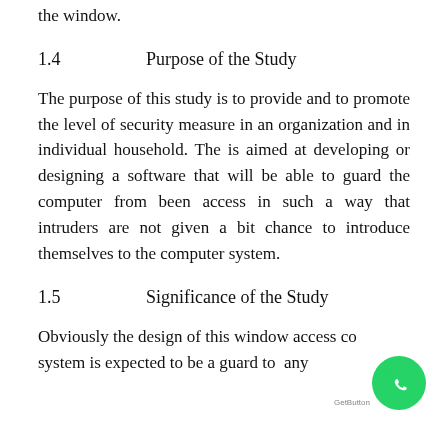the window.
1.4        Purpose of the Study
The purpose of this study is to provide and to promote the level of security measure in an organization and in individual household. The is aimed at developing or designing a software that will be able to guard the computer from been access in such a way that intruders are not given a bit chance to introduce themselves to the computer system.
1.5        Significance of the Study
Obviously the design of this window access control system is expected to be a guard to any